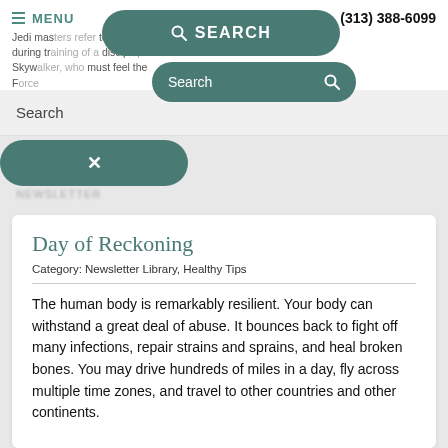MENU  SEARCH  (313) 388-6099
Jedi masters refer to "the Force" during training of a disciple, Luke Skywalker, who must feel the Force...
Search
Search
×
Day of Reckoning
Category: Newsletter Library, Healthy Tips
The human body is remarkably resilient. Your body can withstand a great deal of abuse. It bounces back to fight off many infections, repair strains and sprains, and heal broken bones. You may drive hundreds of miles in a day, fly across multiple time zones, and travel to other countries and other continents.